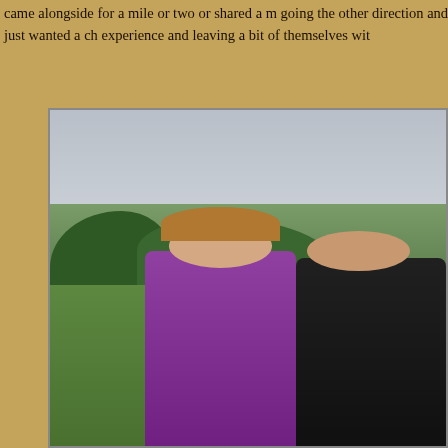came alongside for a mile or two or shared a m going the other direction and just wanted a ch experience and leaving a bit of themselves wit
[Figure (photo): Two women standing outdoors on a hillside with a green rolling countryside and overcast sky in the background. One woman wears a purple/magenta shirt and a hat, the other is in dark clothing. Green grass fields and trees visible in the background.]